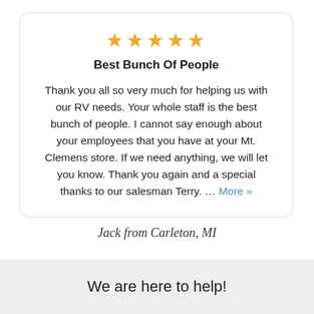[Figure (other): Five gold star rating icons]
Best Bunch Of People
Thank you all so very much for helping us with our RV needs. Your whole staff is the best bunch of people. I cannot say enough about your employees that you have at your Mt. Clemens store. If we need anything, we will let you know. Thank you again and a special thanks to our salesman Terry. … More »
Jack from Carleton, MI
We are here to help!